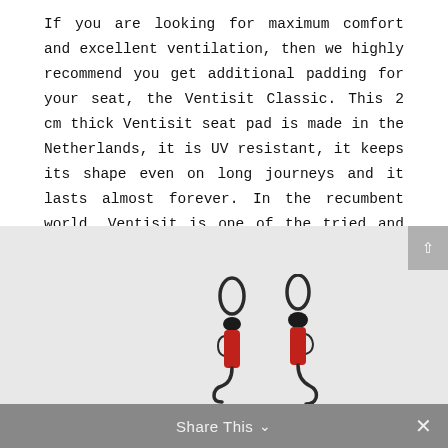If you are looking for maximum comfort and excellent ventilation, then we highly recommend you get additional padding for your seat, the Ventisit Classic. This 2 cm thick Ventisit seat pad is made in the Netherlands, it is UV resistant, it keeps its shape even on long journeys and it lasts almost forever. In the recumbent world, Ventisit is one of the tried and tested accessory suppliers that you can, literally, lean on.
[Figure (photo): Two bungee cords with hooks and red handles photographed on a gray background]
Share This ∨   ×